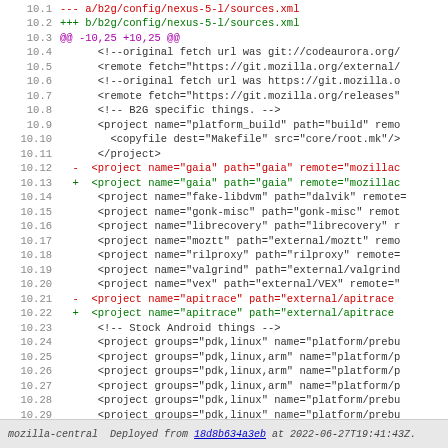Code diff showing changes to b2g/config/nexus-5-l/sources.xml
mozilla-central  Deployed from 18d8b634a3eb at 2022-06-27T19:41:43Z.